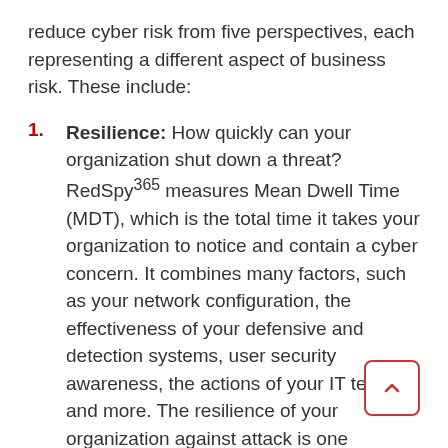reduce cyber risk from five perspectives, each representing a different aspect of business risk. These include:
1. Resilience: How quickly can your organization shut down a threat? RedSpy365 measures Mean Dwell Time (MDT), which is the total time it takes your organization to notice and contain a cyber concern. It combines many factors, such as your network configuration, the effectiveness of your defensive and detection systems, user security awareness, the actions of your IT team, and more. The resilience of your organization against attack is one important way to measure and manage